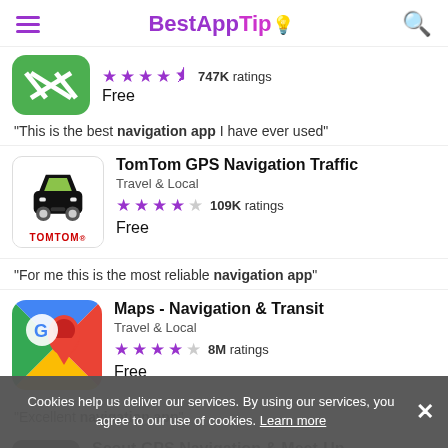BestAppTip
[Figure (screenshot): Partially visible green app icon with X marks, top of app listing]
★★★★½ 747K ratings
Free
"This is the best navigation app I have ever used"
[Figure (screenshot): TomTom GPS app icon with car silhouette and TOMTOM branding]
TomTom GPS Navigation Traffic
Travel & Local
★★★★☆ 109K ratings
Free
"For me this is the most reliable navigation app"
[Figure (screenshot): Google Maps app icon with colorful map pin and G logo]
Maps - Navigation & Transit
Travel & Local
★★★★☆ 8M ratings
Free
"Excellent navigation app"
[Figure (screenshot): Scout GPS Navigation app icon, partially visible at bottom]
Scout GPS Navigation & Meet-Up
Travel & Local
Cookies help us deliver our services. By using our services, you agree to our use of cookies. Learn more